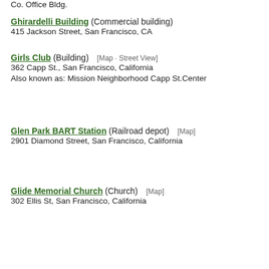Co. Office Bldg.
Ghirardelli Building (Commercial building)
415 Jackson Street, San Francisco, CA
Girls Club (Building) [Map · Street View]
362 Capp St., San Francisco, California
Also known as: Mission Neighborhood Capp St.Center
Glen Park BART Station (Railroad depot) [Map]
2901 Diamond Street, San Francisco, California
Glide Memorial Church (Church) [Map]
302 Ellis St, San Francisco, California